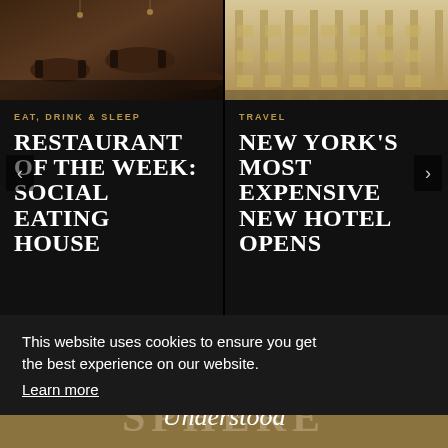[Figure (screenshot): Left card showing restaurant interior photo (dark, moody dining room with tables and chairs) with category label 'EAT, DRINK & SLEEP' and title 'RESTAURANT OF THE WEEK: SOCIAL EATING HOUSE']
[Figure (screenshot): Right card showing hotel exterior photo (ornate classical building facade) with category label 'TRAVEL' and title 'NEW YORK'S MOST EXPENSIVE NEW HOTEL OPENS']
This website uses cookies to ensure you get the best experience on our website.
Learn more
Understood
SPHERE